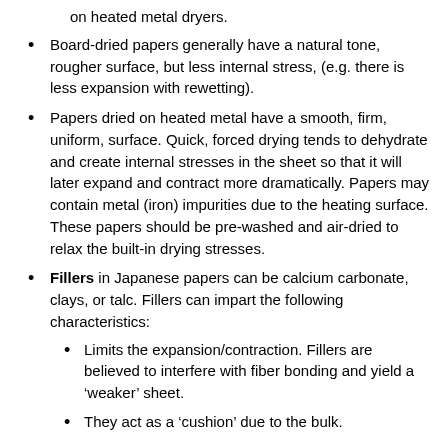on heated metal dryers.
Board-dried papers generally have a natural tone, rougher surface, but less internal stress, (e.g. there is less expansion with rewetting).
Papers dried on heated metal have a smooth, firm, uniform, surface. Quick, forced drying tends to dehydrate and create internal stresses in the sheet so that it will later expand and contract more dramatically. Papers may contain metal (iron) impurities due to the heating surface. These papers should be pre-washed and air-dried to relax the built-in drying stresses.
Fillers in Japanese papers can be calcium carbonate, clays, or talc. Fillers can impart the following characteristics:
Limits the expansion/contraction. Fillers are believed to interfere with fiber bonding and yield a ‘weaker’ sheet.
They act as a ‘cushion’ due to the bulk.
They can improve dimensi...